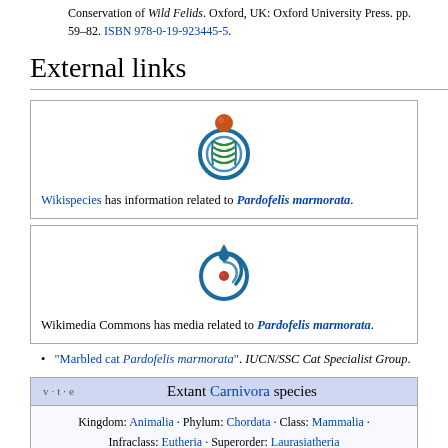Conservation of Wild Felids. Oxford, UK: Oxford University Press. pp. 59–82. ISBN 978-0-19-923445-5.
External links
[Figure (logo): Wikispecies logo — circular DNA double helix with amber sphere on top]
Wikispecies has information related to Pardofelis marmorata.
[Figure (logo): Wikimedia Commons logo — blue circular swirl with red dot]
Wikimedia Commons has media related to Pardofelis marmorata.
"Marbled cat Pardofelis marmorata". IUCN/SSC Cat Specialist Group.
| v · t · e | Extant Carnivora species |
| --- | --- |
| Kingdom: Animalia · Phylum: Chordata · Class: Mammalia · Infraclass: Eutheria · Superorder: Laurasiatheria |  |